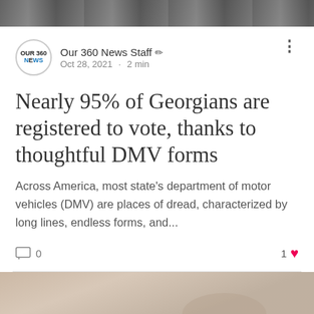[Figure (photo): Top banner photo strip, dark/grey image]
Our 360 News Staff · Oct 28, 2021 · 2 min
Nearly 95% of Georgians are registered to vote, thanks to thoughtful DMV forms
Across America, most state's department of motor vehicles (DMV) are places of dread, characterized by long lines, endless forms, and...
[Figure (photo): Bottom partial photo showing interior room scene]